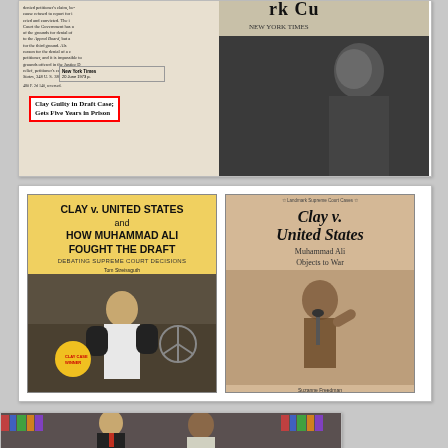[Figure (photo): Newspaper collage showing legal documents on the left and news headlines/photos on the right, including a headline reading 'Clay Guilty in Draft Case; Gets Five Years in Prison' with a red border highlight, and a dark photograph of a person on the right side.]
[Figure (photo): Two book covers side by side. Left: 'Clay v. United States and How Muhammad Ali Fought the Draft – Debating Supreme Court Decisions' by Tom Streissguth, with a yellow cover and a photo of Muhammad Ali in boxing stance. Right: 'Clay v. United States – Muhammad Ali Objects to War' by Suzanne Freedman, a Landmark Supreme Court Cases book with a sepia-toned photo of Muhammad Ali.]
[Figure (photo): A photograph of two men sitting together in front of bookshelves. One man in a dark suit with a red tie is on the left, and Muhammad Ali is on the right, wearing a light-colored shirt. They appear to be at a bookstore event.]